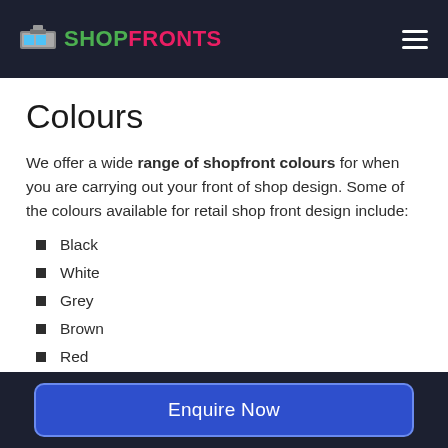SHOPFRONTS
Colours
We offer a wide range of shopfront colours for when you are carrying out your front of shop design. Some of the colours available for retail shop front design include:
Black
White
Grey
Brown
Red
Enquire Now